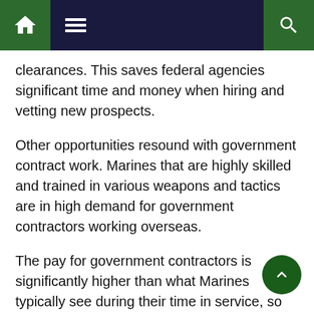Navigation bar with home, menu, and search icons
clearances. This saves federal agencies significant time and money when hiring and vetting new prospects.
Other opportunities resound with government contract work. Marines that are highly skilled and trained in various weapons and tactics are in high demand for government contractors working overseas.
The pay for government contractors is significantly higher than what Marines typically see during their time in service, so the monetary reward can be a beneficial reason to consider contract work.
Related Article:  10 Best Marine Corps Jobs For Civilian Life